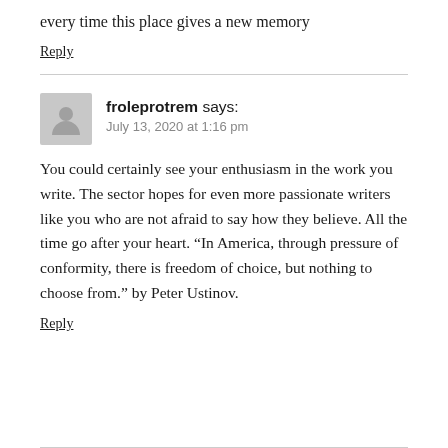every time this place gives a new memory
Reply
froleprotrem says:
July 13, 2020 at 1:16 pm
You could certainly see your enthusiasm in the work you write. The sector hopes for even more passionate writers like you who are not afraid to say how they believe. All the time go after your heart. “In America, through pressure of conformity, there is freedom of choice, but nothing to choose from.” by Peter Ustinov.
Reply